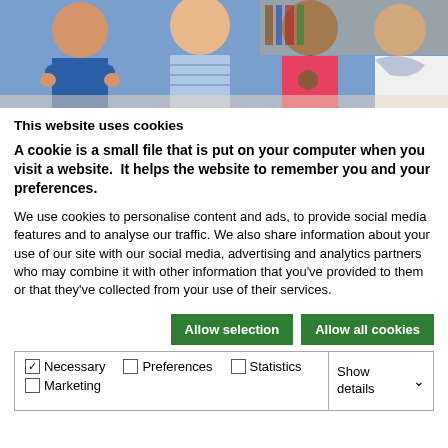[Figure (photo): A group of people in a classroom or meeting room setting, clapping and smiling. One person wears a blue striped shirt, another a pink top, another has a scarf.]
This website uses cookies
A cookie is a small file that is put on your computer when you visit a website.  It helps the website to remember you and your preferences.
We use cookies to personalise content and ads, to provide social media features and to analyse our traffic. We also share information about your use of our site with our social media, advertising and analytics partners who may combine it with other information that you've provided to them or that they've collected from your use of their services.
Allow selection | Allow all cookies
| ☑ Necessary  □ Preferences  □ Statistics  □ Marketing | Show details ✓ |